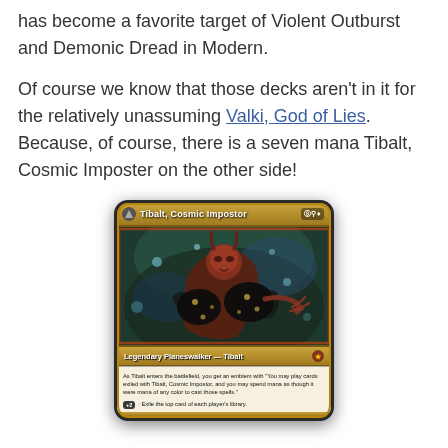has become a favorite target of Violent Outburst and Demonic Dread in Modern.
Of course we know that those decks aren't in it for the relatively unassuming Valki, God of Lies. Because, of course, there is a seven mana Tibalt, Cosmic Imposter on the other side!
[Figure (photo): Magic: The Gathering card image showing Tibalt, Cosmic Impostor — a Legendary Planeswalker card with gold border, dark fantasy artwork of a demonic figure, mana cost 5UB, type line 'Legendary Planeswalker — Tibalt', rules text about exiling cards, and +2 loyalty ability.]